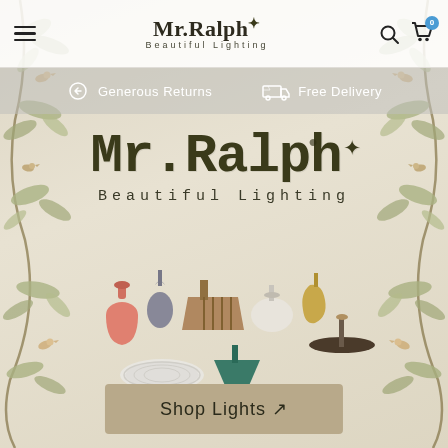Mr.Ralph Beautiful Lighting – navigation bar with hamburger menu, logo, search icon, cart icon (0)
Generous Returns   Free Delivery
[Figure (screenshot): Mr.Ralph Beautiful Lighting website homepage screenshot showing the brand logo in large typewriter font with botanical/bird wallpaper decorations on left and right sides, and a collection of lamp shades and pendants arranged in the center, with a 'Shop Lights ↗' button at the bottom]
Mr.Ralph
Beautiful Lighting
Shop Lights ↗